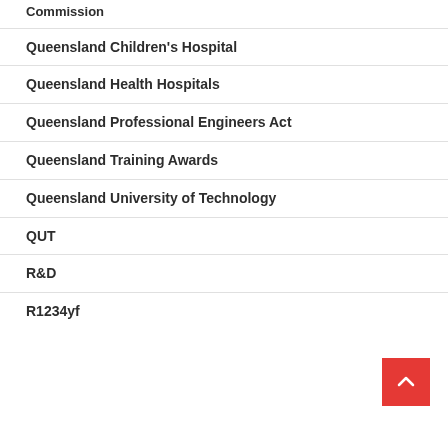Commission
Queensland Children's Hospital
Queensland Health Hospitals
Queensland Professional Engineers Act
Queensland Training Awards
Queensland University of Technology
QUT
R&D
R1234yf